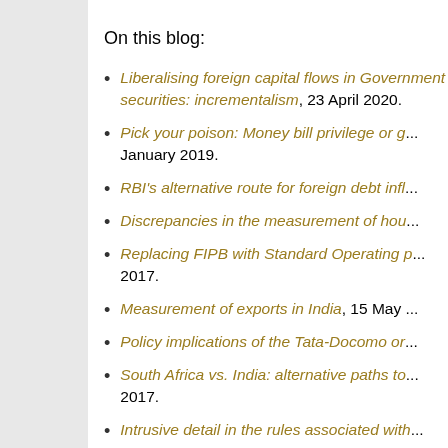On this blog:
Liberalising foreign capital flows in Govern... incrementalism, 23 April 2020.
Pick your poison: Money bill privilege or g... January 2019.
RBI's alternative route for foreign debt infl...
Discrepancies in the measurement of hou...
Replacing FIPB with Standard Operating ... 2017.
Measurement of exports in India, 15 May ...
Policy implications of the Tata-Docomo or...
South Africa vs. India: alternative paths to... 2017.
Intrusive detail in the rules associated with... November 2016.